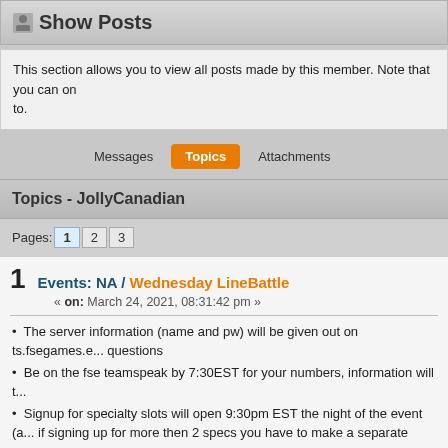Show Posts
This section allows you to view all posts made by this member. Note that you can only see posts made in areas you currently have access to.
Messages   Topics   Attachments
Topics - JollyCanadian
Pages: 1  2  3
Events: NA / Wednesday LineBattle
« on: March 24, 2021, 08:31:42 pm »
The server information (name and pw) will be given out on ts.fsegames.e... questions
Be on the fse teamspeak by 7:30EST for your numbers, information will t...
Signup for specialty slots will open 9:30pm EST the night of the event (a... if signing up for more then 2 specs you have to make a separate post. 2 Art... up for.
Specialties will be given first come first serve, given that they are after th...
Event Rules
Any person who breaks the rules will be subject to slay, kick, or ban if the...
Admins may change spec caps should event attendance merit it.
Do not intentionally TK